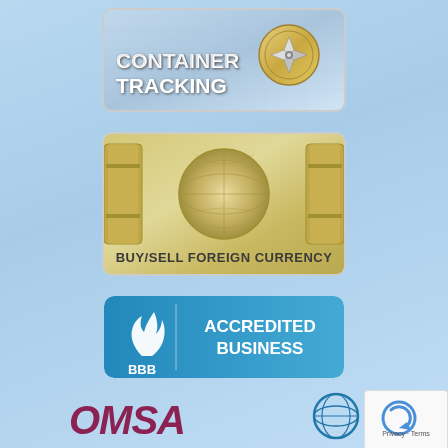[Figure (logo): Container Tracking banner with compass and map background, bold white uppercase text reading CONTAINER TRACKING]
[Figure (logo): Buy/Sell Foreign Currency banner with golden globe and barrel background, dark uppercase text reading BUY/SELL FOREIGN CURRENCY]
[Figure (logo): BBB Accredited Business badge in blue with BBB flame logo on left and ACCREDITED BUSINESS text on right]
[Figure (logo): OMSA logo in dark red/maroon stylized letters at bottom left]
[Figure (logo): IAM logo with globe icon and IAM text at bottom right]